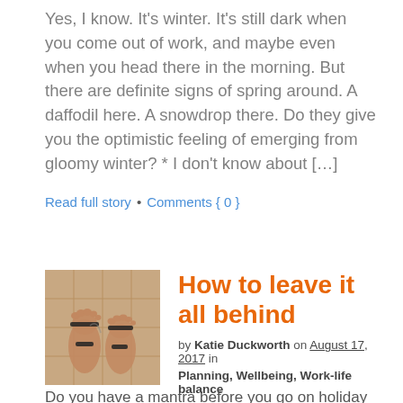Yes, I know. It's winter. It's still dark when you come out of work, and maybe even when you head there in the morning. But there are definite signs of spring around. A daffodil here. A snowdrop there. Do they give you the optimistic feeling of emerging from gloomy winter? * I don't know about […]
Read full story  •  Comments { 0 }
[Figure (photo): A photo of feet in sandals on a tiled floor]
How to leave it all behind
by Katie Duckworth on August 17, 2017 in Planning, Wellbeing, Work-life balance
Do you have a mantra before you go on holiday to check you've packed the essentials? You know the kind of thing, not to mention the ticket? Oh it...